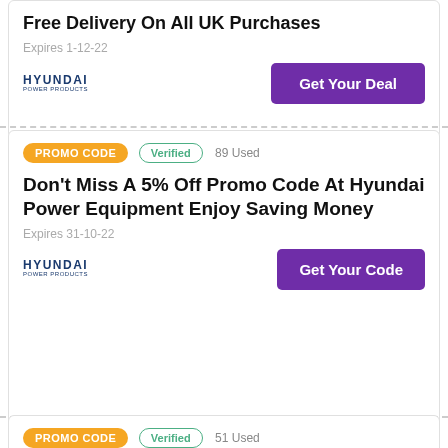Free Delivery On All UK Purchases
Expires 1-12-22
Get Your Deal
PROMO CODE  Verified  89 Used
Don't Miss A 5% Off Promo Code At Hyundai Power Equipment Enjoy Saving Money
Expires 31-10-22
Get Your Code
PROMO CODE  Verified  51 Used
Hyundai Power Equipment Website Discount Code 5% Off Your Basket